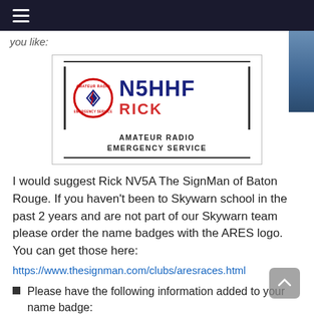☰ (navigation menu)
you like:
[Figure (other): Amateur Radio Emergency Service (ARES) name badge showing callsign N5HHF in bold blue, name RICK in red, AMATEUR RADIO EMERGENCY SERVICE in black, with ARES circular logo on left and vertical bars on sides]
I would suggest Rick NV5A The SignMan of Baton Rouge. If you haven't been to Skywarn school in the past 2 years and are not part of our Skywarn team please order the name badges with the ARES logo. You can get those here:
https://www.thesignman.com/clubs/aresraces.html
Please have the following information added to your name badge:
Callsign